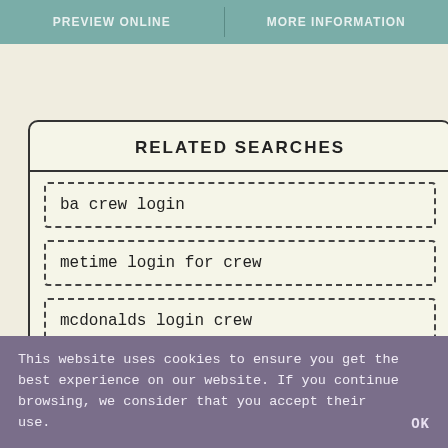PREVIEW ONLINE | MORE INFORMATION
RELATED SEARCHES
ba crew login
metime login for crew
mcdonalds login crew
This website uses cookies to ensure you get the best experience on our website. If you continue browsing, we consider that you accept their use. OK